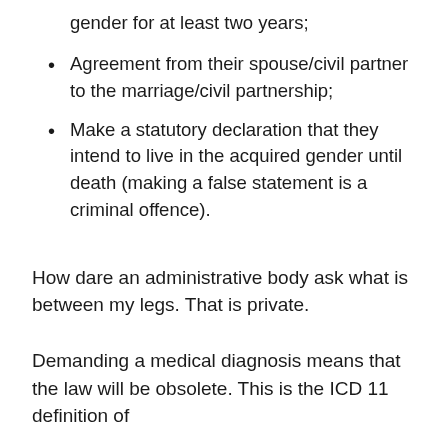gender for at least two years;
Agreement from their spouse/civil partner to the marriage/civil partnership;
Make a statutory declaration that they intend to live in the acquired gender until death (making a false statement is a criminal offence).
How dare an administrative body ask what is between my legs. That is private.
Demanding a medical diagnosis means that the law will be obsolete. This is the ICD 11 definition of